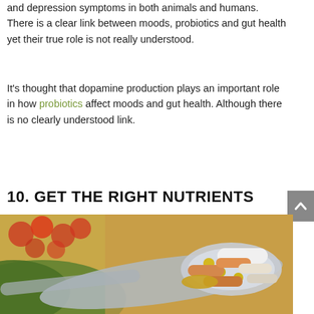and depression symptoms in both animals and humans. There is a clear link between moods, probiotics and gut health yet their true role is not really understood.
It's thought that dopamine production plays an important role in how probiotics affect moods and gut health. Although there is no clearly understood link.
10. GET THE RIGHT NUTRIENTS
[Figure (photo): A silver spoon holding various supplement capsules and pills — white, yellow, orange, and tan — with tomatoes and green leaves in the blurred background.]